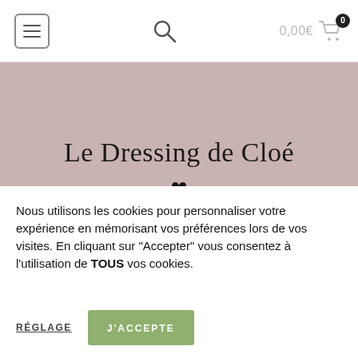Navigation bar with menu button, search icon, cart 0,00€
[Figure (screenshot): Website hero banner with pink-beige background showing the text 'Le Dressing de Cloé' and a heart symbol below]
Le Dressing de Cloé ♥
MON COMPTE
Nous utilisons les cookies pour personnaliser votre expérience en mémorisant vos préférences lors de vos visites. En cliquant sur "Accepter" vous consentez à l'utilisation de TOUS vos cookies.